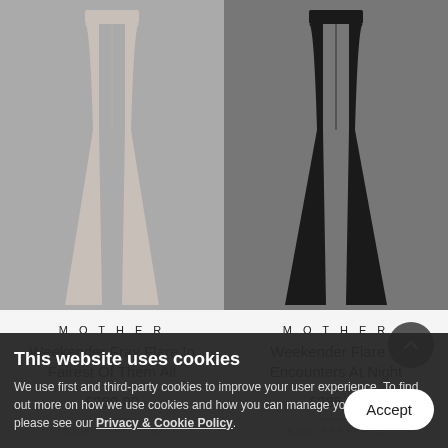[Figure (photo): Product photo: light-colored wide-leg flare pants on grey background]
MOTHER
Weekender Fray Flare In Fairest Of Them All
£230.00
[Figure (photo): Product photo: black flare jeans on dark grey background]
MOTHER
Weekender Flare In Encounters At Night
£285.00
NEW ARRIVALS
NEW ARRIVALS
This website uses cookies
We use first and third-party cookies to improve your user experience. To find out more on how we use cookies and how you can manage your settings, please see our Privacy & Cookie Policy.